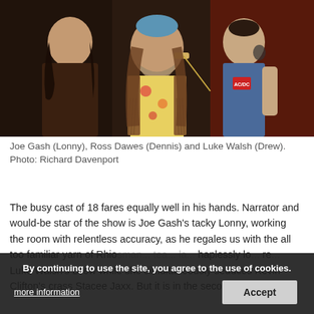[Figure (photo): Three actors on stage: a person in dark clothing on the left, a bearded man in the center wearing a floral shirt and brown fringed vest with a blue beanie holding a phone receiver to his ear, and a person on the right in a denim vest. Red lighting in background.]
Joe Gash (Lonny), Ross Dawes (Dennis) and Luke Walsh (Drew). Photo: Richard Davenport
The busy cast of 18 fares equally well in his hands. Narrator and would-be star of the show is Joe Gash's tacky Lonny, working the room with relentless accuracy, as he regales us with the all too familiar yarn of Rhio... haplessly lo... re... Luke Walsh's Drew while she simultaneously seduces Kevin Clifton's crass Stacee Jaxx. But it is in the secondary characters